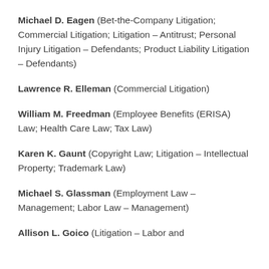Michael D. Eagen (Bet-the-Company Litigation; Commercial Litigation; Litigation – Antitrust; Personal Injury Litigation – Defendants; Product Liability Litigation – Defendants)
Lawrence R. Elleman (Commercial Litigation)
William M. Freedman (Employee Benefits (ERISA) Law; Health Care Law; Tax Law)
Karen K. Gaunt (Copyright Law; Litigation – Intellectual Property; Trademark Law)
Michael S. Glassman (Employment Law – Management; Labor Law – Management)
Allison L. Goico (Litigation – Labor and